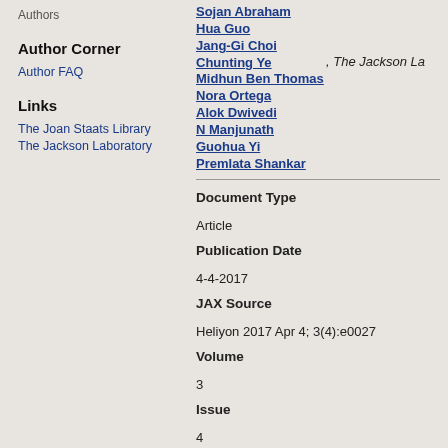Authors
Author Corner
Author FAQ
Links
The Joan Staats Library
The Jackson Laboratory
Sojan Abraham
Hua Guo
Jang-Gi Choi
Chunting Ye, The Jackson La...
Midhun Ben Thomas
Nora Ortega
Alok Dwivedi
N Manjunath
Guohua Yi
Premlata Shankar
Document Type
Article
Publication Date
4-4-2017
JAX Source
Heliyon 2017 Apr 4; 3(4):e0027...
Volume
3
Issue
4